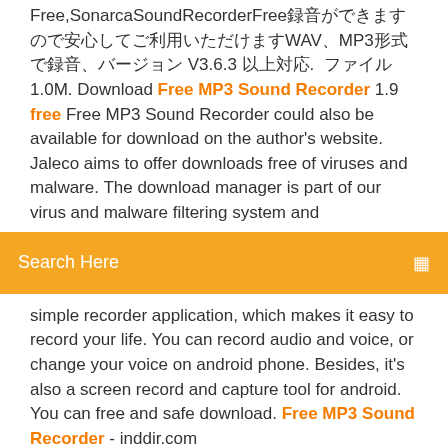Free,SonarcaSoundRecorderFree録音ができますので安心してご利用いただけますWAV、MP3形式で録音、バージョン V3.6.3 以上対応.  ファイル1.0M. Download Free MP3 Sound Recorder 1.9 free Free MP3 Sound Recorder could also be available for download on the author's website. Jaleco aims to offer downloads free of viruses and malware. The download manager is part of our virus and malware filtering system and
[Figure (other): Orange search bar with text 'Search Here' and a search icon on the right]
simple recorder application, which makes it easy to record your life. You can record audio and voice, or change your voice on android phone. Besides, it's also a screen record and capture tool for android. You can free and safe download. Free MP3 Sound Recorder - inddir.com
Java jdk 6 mac os x télécharger
Logiciel gratuit table de mixage
Mot de passe itunes incorrect
Changer la langue dans winrar